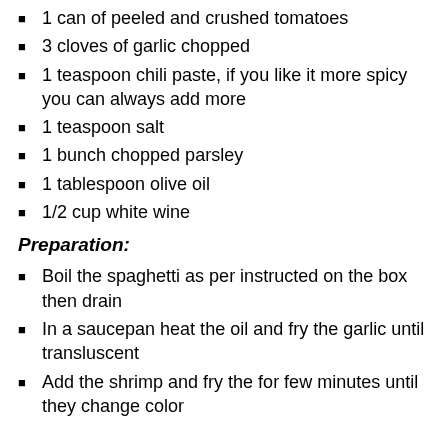1 can of peeled and crushed tomatoes
3 cloves of garlic chopped
1 teaspoon chili paste, if you like it more spicy you can always add more
1 teaspoon salt
1 bunch chopped parsley
1 tablespoon olive oil
1/2 cup white wine
Preparation:
Boil the spaghetti as per instructed on the box then drain
In a saucepan heat the oil and fry the garlic until transluscent
Add the shrimp and fry the for few minutes until they change color